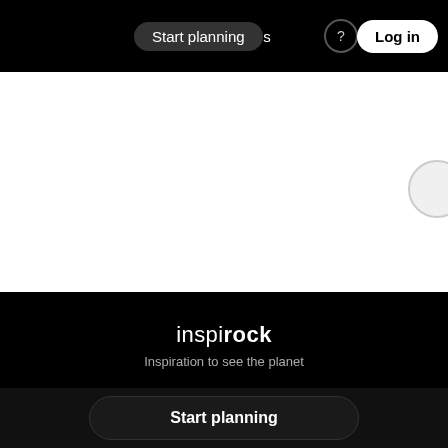Start planning   es & activities   Log in
[Figure (screenshot): White content area with a partial circle visible on the right edge]
inspirock
Inspiration to see the planet
Company
Browse
Help
Start planning